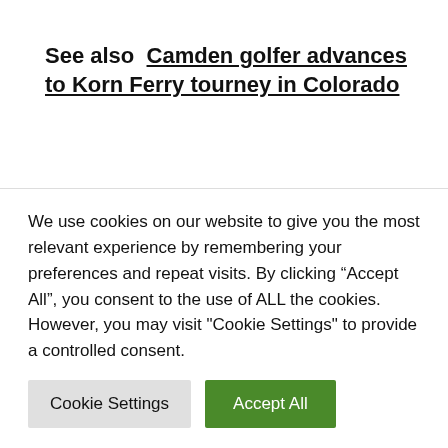See also  Camden golfer advances to Korn Ferry tourney in Colorado
If an individual values effectivity above democracy, the sturdy, unchecked chief is in style. That’s very true when you agree with their insurance policies. The chance is that they may later undertake insurance policies you dislike and you may be helpless to oppose them. What’s
We use cookies on our website to give you the most relevant experience by remembering your preferences and repeat visits. By clicking “Accept All”, you consent to the use of ALL the cookies. However, you may visit "Cookie Settings" to provide a controlled consent.